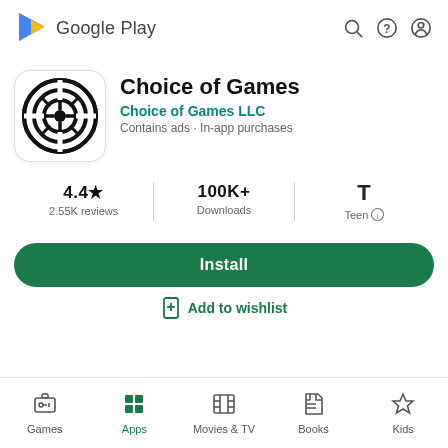[Figure (logo): Google Play logo with triangular play icon and 'Google Play' text]
[Figure (logo): Choice of Games app icon: circular maze/puzzle design in black and white with rounded square background]
Choice of Games
Choice of Games LLC
Contains ads · In-app purchases
4.4★
2.55K reviews
100K+
Downloads
Teen
Install
Add to wishlist
Games  Apps  Movies & TV  Books  Kids